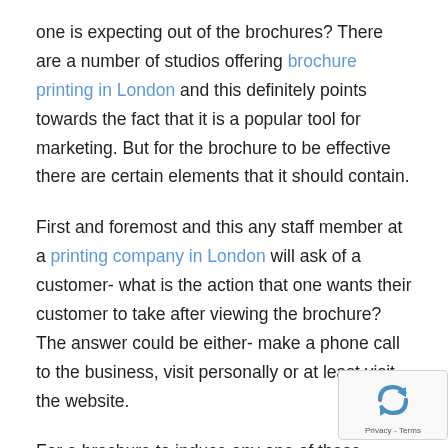one is expecting out of the brochures? There are a number of studios offering brochure printing in London and this definitely points towards the fact that it is a popular tool for marketing. But for the brochure to be effective there are certain elements that it should contain.
First and foremost and this any staff member at a printing company in London will ask of a customer- what is the action that one wants their customer to take after viewing the brochure? The answer could be either- make a phone call to the business, visit personally or at least visit the website.
For a brochure to induce any one of these...